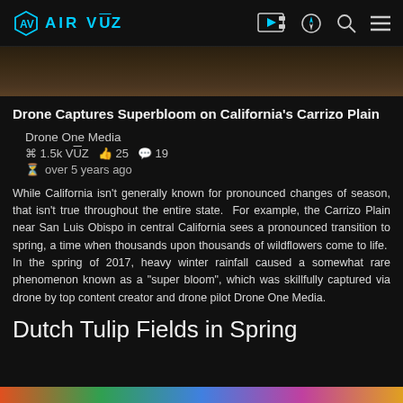AIRVŪZ navigation bar with logo and icons
[Figure (photo): Partially visible aerial thumbnail image, dark/brown tones]
Drone Captures Superbloom on California's Carrizo Plain
Drone One Media
⌘ 1.5k VŪZ  👍 25  💬 19
⏱ over 5 years ago
While California isn't generally known for pronounced changes of season, that isn't true throughout the entire state.  For example, the Carrizo Plain near San Luis Obispo in central California sees a pronounced transition to spring, a time when thousands upon thousands of wildflowers come to life.  In the spring of 2017, heavy winter rainfall caused a somewhat rare phenomenon known as a "super bloom", which was skillfully captured via drone by top content creator and drone pilot Drone One Media.
Dutch Tulip Fields in Spring
[Figure (photo): Partially visible colorful tulip fields aerial photo at bottom of page]